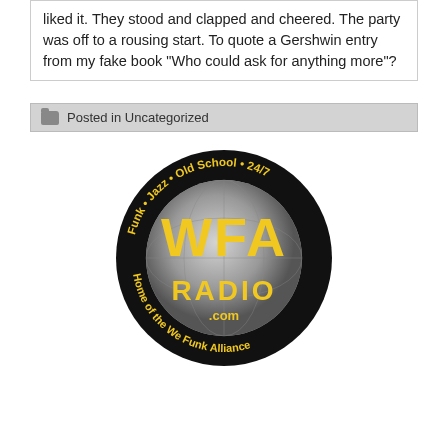liked it. They stood and clapped and cheered. The party was off to a rousing start. To quote a Gershwin entry from my fake book “Who could ask for anything more”?
Posted in Uncategorized
[Figure (logo): WFA Radio circular logo. Black circle with yellow text 'WFA RADIO .com' in the center. Curved text around the rim reads 'Funk • Jazz • Old School • 24/7' on top and 'Home of the We Funk Alliance' on the bottom. A globe graphic is visible in the background.]
[Figure (screenshot): Video player widget with a play button (triangle inside rounded square) on a grey background with a teal/cyan border. Beside it is an album thumbnail for what appears to be Adele, with a red recording dot indicator.]